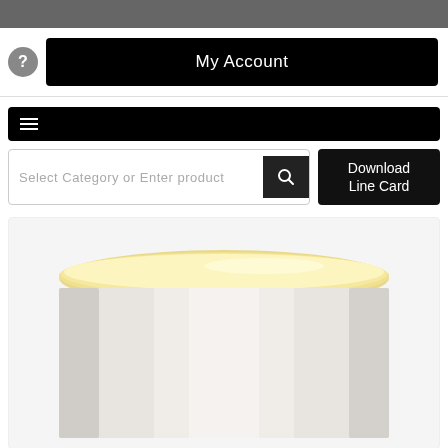My Account
≡
Select Category or Enter product
Download Line Card
[Figure (photo): Close-up of a cylindrical white glass pendant light fixture with a gold/brass rim at the top, viewed from below against a white background.]